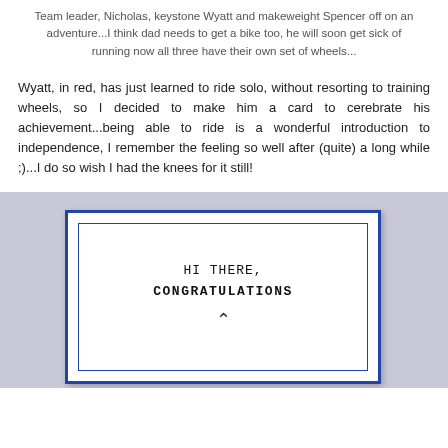Team leader, Nicholas, keystone Wyatt and makeweight Spencer off on an adventure...I think dad needs to get a bike too, he will soon get sick of running now all three have their own set of wheels...
Wyatt, in red, has just learned to ride solo, without resorting to training wheels, so I decided to make him a card to cerebrate his achievement...being able to ride is a wonderful introduction to independence, I remember the feeling so well after (quite) a long while ;)...I do so wish I had the knees for it still!
[Figure (photo): A greeting card with a blue border sitting on a light blue-grey background. The card reads 'HI THERE, CONGRATULATIONS' in monospaced font.]